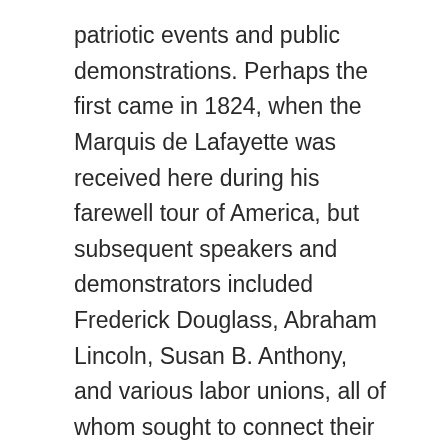patriotic events and public demonstrations. Perhaps the first came in 1824, when the Marquis de Lafayette was received here during his farewell tour of America, but subsequent speakers and demonstrators included Frederick Douglass, Abraham Lincoln, Susan B. Anthony, and various labor unions, all of whom sought to connect their connect their causes to the ideals that the Founding Fathers had expressed here.
By the time the first photo was taken at the turn of the 20th century, the exterior of the building had undergone another change. The 1812 wings were demolished in 1898, and were replaced with replicas of the originals, including the arched brick arcades that connected the wings to the main building. Another change to this scene came in 1869, when a marble statue of George